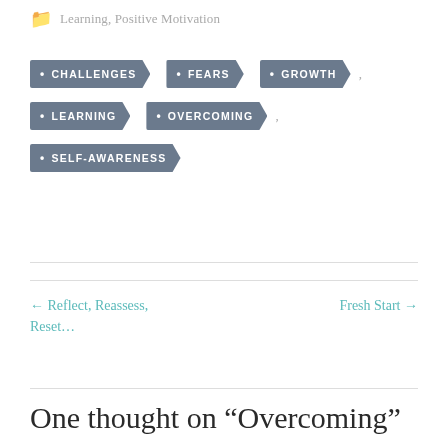Learning, Positive Motivation
CHALLENGES
FEARS
GROWTH
LEARNING
OVERCOMING
SELF-AWARENESS
← Reflect, Reassess, Reset…
Fresh Start →
One thought on “Overcoming”